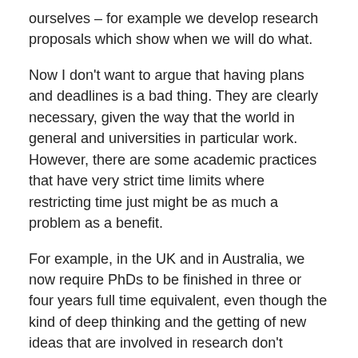ourselves – for example we develop research proposals which show when we will do what.
Now I don't want to argue that having plans and deadlines is a bad thing. They are clearly necessary, given the way that the world in general and universities in particular work. However, there are some academic practices that have very strict time limits where restricting time just might be as much a problem as a benefit.
For example, in the UK and in Australia, we now require PhDs to be finished in three or four years full time equivalent, even though the kind of deep thinking and the getting of new ideas that are involved in research don't necessarily follow neat linear patterns and deadlines. The aha, or organising idea for the thesis or research report, doesn't necessarily come to order.